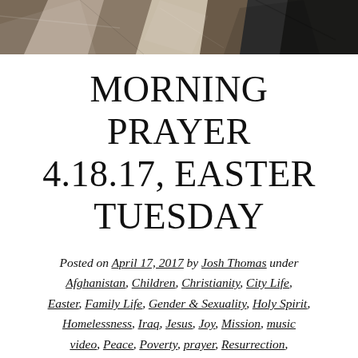[Figure (photo): Rocky/stone texture photograph banner at top of page]
MORNING PRAYER 4.18.17, EASTER TUESDAY
Posted on April 17, 2017 by Josh Thomas under Afghanistan, Children, Christianity, City Life, Easter, Family Life, Gender & Sexuality, Holy Spirit, Homelessness, Iraq, Jesus, Joy, Mission, music video, Peace, Poverty, prayer, Resurrection, Terrorism, USA, War Dead, Youth